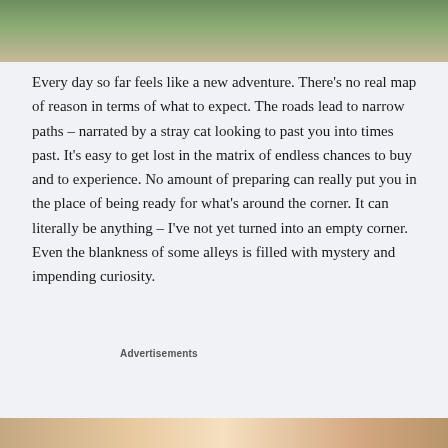[Figure (photo): Aerial or overhead photo showing greenery/trees and a light-colored path or road at the top of the page]
Every day so far feels like a new adventure. There's no real map of reason in terms of what to expect. The roads lead to narrow paths – narrated by a stray cat looking to past you into times past. It's easy to get lost in the matrix of endless chances to buy and to experience. No amount of preparing can really put you in the place of being ready for what's around the corner. It can literally be anything – I've not yet turned into an empty corner. Even the blankness of some alleys is filled with mystery and impending curiosity.
Advertisements
[Figure (other): Advertisement banner: dark background with circular icon (tree/bonsai logo), teal text reading 'Turn your blog into a money-making online course.' with a white arrow]
REPORT THIS AD
[Figure (photo): Photo at the bottom of the page, partially visible, showing what appears to be hands or objects]